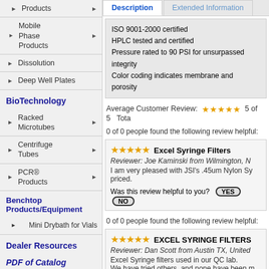Products
Mobile Phase Products
Dissolution
Deep Well Plates
BioTechnology
Racked Microtubes
Centrifuge Tubes
PCR® Products
Benchtop Products/Equipment
Mini Drybath for Vials
Dealer Resources
PDF of Catalog
Description | Extended Information (tabs)
ISO 9001-2000 certified
HPLC tested and certified
Pressure rated to 90 PSI for unsurpassed integrity
Color coding indicates membrane and porosity
Average Customer Review: ★★★★★ 5 of 5  Tota
0 of 0 people found the following review helpful:
★★★★★ Excel Syringe Filters
Reviewer: Joe Kaminski from Wilmington, N
I am very pleased with JSI's .45um Nylon Sy priced.

Was this review helpful to you? YES NO
0 of 0 people found the following review helpful:
★★★★★ EXCEL SYRINGE FILTERS
Reviewer: Dan Scott from Austin TX, United
Excel Syringe filters used in our QC lab.
We have tried others, and none have been m

Was this review helpful to you? YES NO